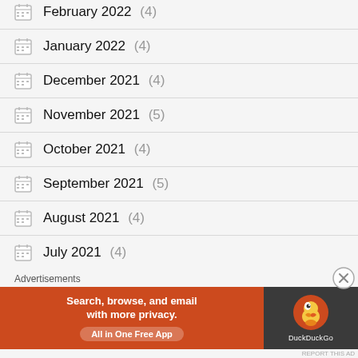February 2022 (4)
January 2022 (4)
December 2021 (4)
November 2021 (5)
October 2021 (4)
September 2021 (5)
August 2021 (4)
July 2021 (4)
Advertisements
[Figure (screenshot): DuckDuckGo advertisement banner: 'Search, browse, and email with more privacy. All in One Free App' with DuckDuckGo logo on dark background.]